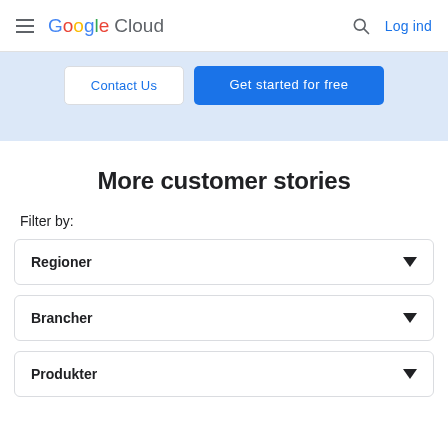Google Cloud — Log ind
[Figure (screenshot): CTA section with 'Contact Us' and 'Get started for free' buttons on a light blue background]
More customer stories
Filter by:
Regioner
Brancher
Produkter